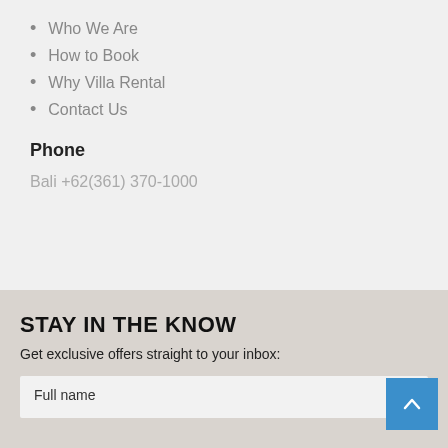Who We Are
How to Book
Why Villa Rental
Contact Us
Phone
Bali  +62(361) 370-1000
STAY IN THE KNOW
Get exclusive offers straight to your inbox:
Full name